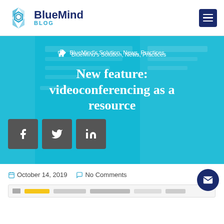BlueMind BLOG
[Figure (screenshot): Hero banner with cyan/teal background showing blog post header for BlueMind blog. Contains category tags 'BlueMind's Solution, News, Practices', article title 'New feature: videoconferencing as a resource', and social share buttons for Facebook, Twitter, LinkedIn.]
New feature: videoconferencing as a resource
BlueMind's Solution, News, Practices
October 14, 2019   No Comments
[Figure (screenshot): Partial screenshot of article content at bottom of page]